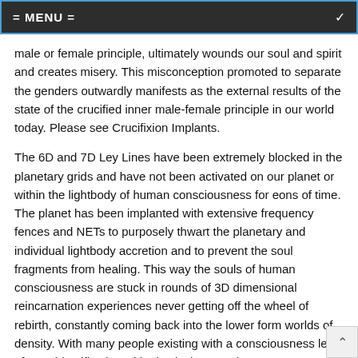= MENU =
male or female principle, ultimately wounds our soul and spirit and creates misery. This misconception promoted to separate the genders outwardly manifests as the external results of the state of the crucified inner male-female principle in our world today. Please see Crucifixion Implants.
The 6D and 7D Ley Lines have been extremely blocked in the planetary grids and have not been activated on our planet or within the lightbody of human consciousness for eons of time. The planet has been implanted with extensive frequency fences and NETs to purposely thwart the planetary and individual lightbody accretion and to prevent the soul fragments from healing. This way the souls of human consciousness are stuck in rounds of 3D dimensional reincarnation experiences never getting off the wheel of rebirth, constantly coming back into the lower form worlds of density. With many people existing with a consciousness level of pure identification with physical matter, it